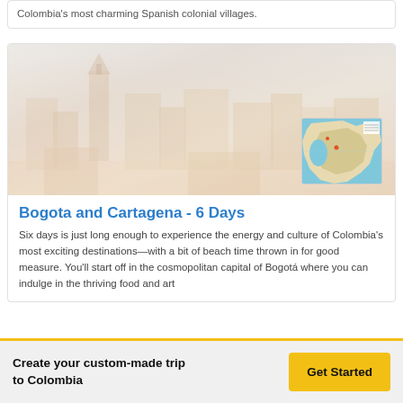Colombia's most charming Spanish colonial villages.
[Figure (photo): Faded/washed-out photo of a Colombian cityscape with church spire and buildings, with a small map thumbnail in the lower right corner showing Colombia's coastline]
Bogota and Cartagena - 6 Days
Six days is just long enough to experience the energy and culture of Colombia's most exciting destinations—with a bit of beach time thrown in for good measure. You'll start off in the cosmopolitan capital of Bogotá where you can indulge in the thriving food and art
Create your custom-made trip to Colombia
Get Started